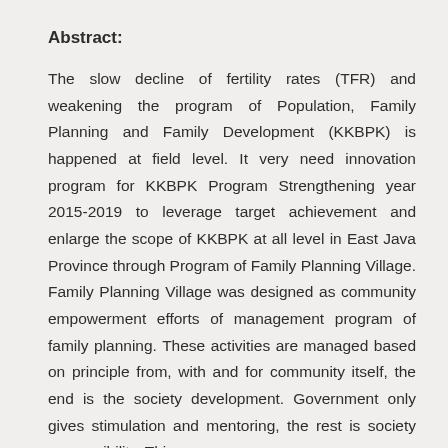Abstract:
The slow decline of fertility rates (TFR) and weakening the program of Population, Family Planning and Family Development (KKBPK) is happened at field level. It very need innovation program for KKBPK Program Strengthening year 2015-2019 to leverage target achievement and enlarge the scope of KKBPK at all level in East Java Province through Program of Family Planning Village. Family Planning Village was designed as community empowerment efforts of management program of family planning. These activities are managed based on principle from, with and for community itself, the end is the society development. Government only gives stimulation and mentoring, the rest is society responsibility. This